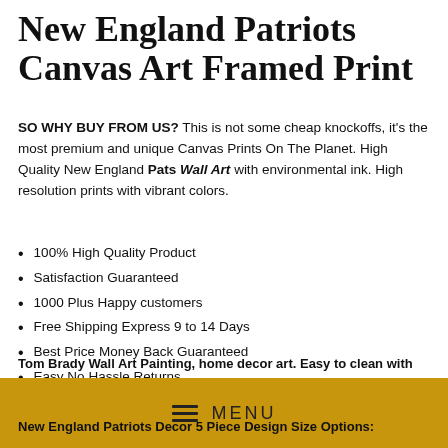New England Patriots Canvas Art Framed Print
SO WHY BUY FROM US? This is not some cheap knockoffs, it's the most premium and unique Canvas Prints On The Planet. High Quality New England Pats Wall Art with environmental ink. High resolution prints with vibrant colors.
100% High Quality Product
Satisfaction Guaranteed
1000 Plus Happy customers
Free Shipping Express 9 to 14 Days
Best Price Money Back Guaranteed
Easy No Hassle Returns
Tom Brady Wall Art Painting, home decor art. Easy to clean with
[Figure (other): Golden menu bar with hamburger icon and MENU text]
New England Patriots Decor 5 Piece Design Size Options: